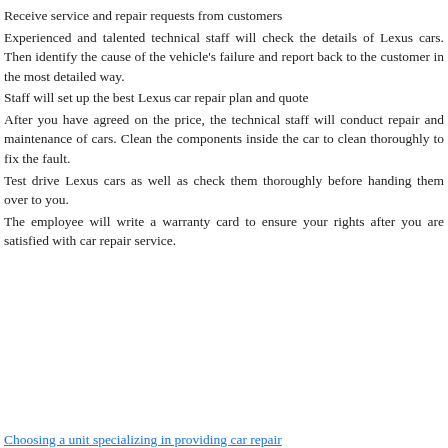Receive service and repair requests from customers
Experienced and talented technical staff will check the details of Lexus cars. Then identify the cause of the vehicle's failure and report back to the customer in the most detailed way.
Staff will set up the best Lexus car repair plan and quote
After you have agreed on the price, the technical staff will conduct repair and maintenance of cars. Clean the components inside the car to clean thoroughly to fix the fault.
Test drive Lexus cars as well as check them thoroughly before handing them over to you.
The employee will write a warranty card to ensure your rights after you are satisfied with car repair service.
Choosing a unit specializing in providing car repair